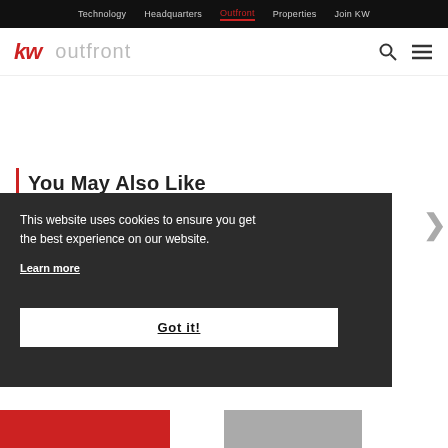Technology  Headquarters  Outfront  Properties  Join KW
[Figure (logo): KW outfront logo with search and menu icons]
You May Also Like
This website uses cookies to ensure you get the best experience on our website.
Learn more
Got it!